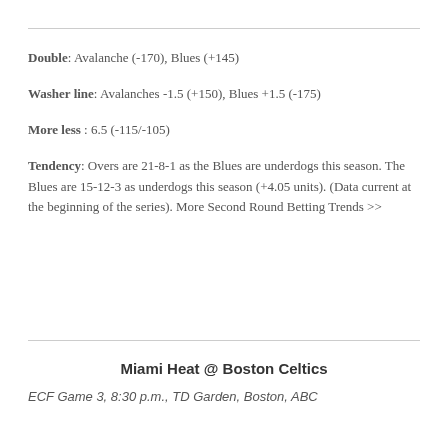Double: Avalanche (-170), Blues (+145)
Washer line: Avalanches -1.5 (+150), Blues +1.5 (-175)
More less : 6.5 (-115/-105)
Tendency: Overs are 21-8-1 as the Blues are underdogs this season. The Blues are 15-12-3 as underdogs this season (+4.05 units). (Data current at the beginning of the series). More Second Round Betting Trends >>
Miami Heat @ Boston Celtics
ECF Game 3, 8:30 p.m., TD Garden, Boston, ABC